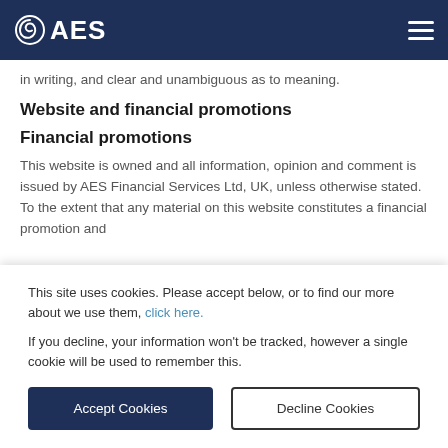[Figure (logo): AES Financial Services logo with spiral icon in dark navy header bar]
in writing, and clear and unambiguous as to meaning.
Website and financial promotions
Financial promotions
This website is owned and all information, opinion and comment is issued by AES Financial Services Ltd, UK, unless otherwise stated. To the extent that any material on this website constitutes a financial promotion and
This site uses cookies. Please accept below, or to find our more about we use them, click here.

If you decline, your information won't be tracked, however a single cookie will be used to remember this.